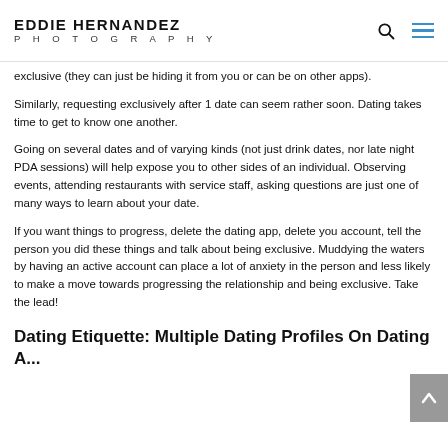EDDIE HERNANDEZ PHOTOGRAPHY
exclusive (they can just be hiding it from you or can be on other apps).
Similarly, requesting exclusively after 1 date can seem rather soon. Dating takes time to get to know one another.
Going on several dates and of varying kinds (not just drink dates, nor late night PDA sessions) will help expose you to other sides of an individual. Observing events, attending restaurants with service staff, asking questions are just one of many ways to learn about your date.
If you want things to progress, delete the dating app, delete you account, tell the person you did these things and talk about being exclusive. Muddying the waters by having an active account can place a lot of anxiety in the person and less likely to make a move towards progressing the relationship and being exclusive. Take the lead!
Dating Etiquette: Multiple Dating Profiles On Dating A...